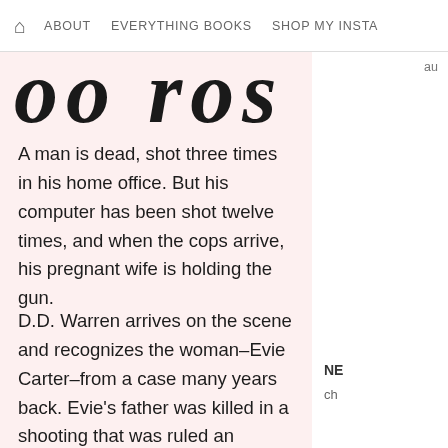🏠 ABOUT  EVERYTHING BOOKS  SHOP MY INSTA
[Figure (illustration): Decorative cursive/script large text partially visible at top of pink content area]
A man is dead, shot three times in his home office. But his computer has been shot twelve times, and when the cops arrive, his pregnant wife is holding the gun.
D.D. Warren arrives on the scene and recognizes the woman–Evie Carter–from a case many years back. Evie's father was killed in a shooting that was ruled an accident. But